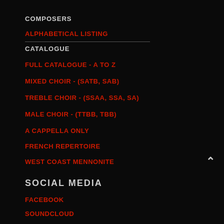COMPOSERS
ALPHABETICAL LISTING
CATALOGUE
FULL CATALOGUE - A to Z
MIXED CHOIR - (SATB, SAB)
TREBLE CHOIR - (SSAA, SSA, SA)
MALE CHOIR - (TTBB, TBB)
A CAPPELLA ONLY
FRENCH REPERTOIRE
WEST COAST MENNONITE
SOCIAL MEDIA
FACEBOOK
SOUNDCLOUD
JOIN MAILING LIST